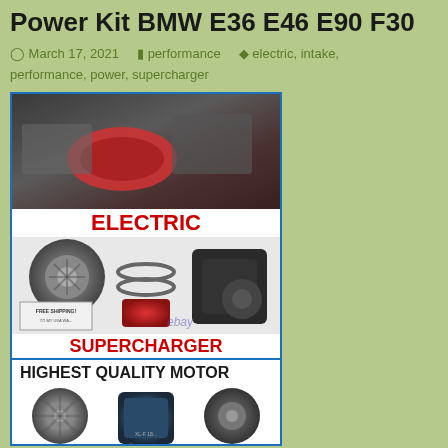Power Kit BMW E36 E46 E90 F30
March 17, 2021   performance   electric, intake, performance, power, supercharger
[Figure (photo): Product listing image showing electric supercharger kit with air filters, hoses, and components. Shows engine bay photo at top, kit parts in middle section with ELECTRIC and SUPERCHARGER labels, and HIGHEST QUALITY MOTOR section at bottom with fan/motor components.]